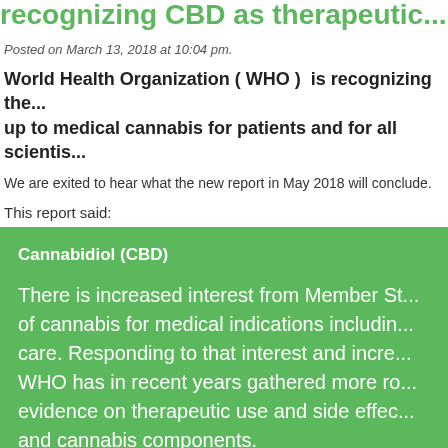recognizing CBD as therapeutic...
Posted on March 13, 2018 at 10:04 pm.
World Health Organization ( WHO )  is recognizing the... up to medical cannabis for patients and for all scientists...
We are exited to hear what the new report in May 2018 will conclude.
This report said:
Cannabidiol (CBD)
There is increased interest from Member States of cannabis for medical indications including care. Responding to that interest and incre... WHO has in recent years gathered more ro... evidence on therapeutic use and side effec... and cannabis components.